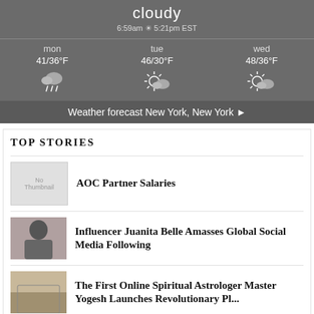[Figure (infographic): Weather widget showing cloudy conditions, sunrise 6:59am sunset 5:21pm EST, 3-day forecast: mon 41/36°F rainy, tue 46/30°F partly cloudy, wed 48/36°F partly cloudy, with link to Weather forecast New York, New York]
TOP STORIES
AOC Partner Salaries
Influencer Juanita Belle Amasses Global Social Media Following
The First Online Spiritual Astrologer Master Yogesh Launches Revolutionary Platform For Home Needs